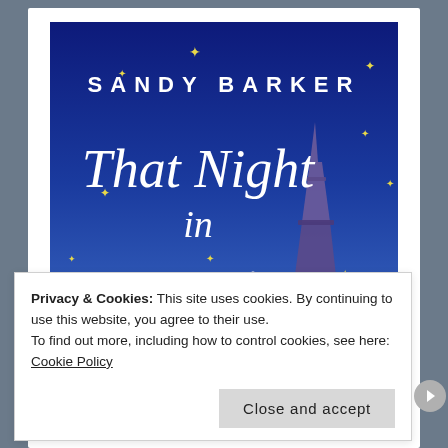[Figure (illustration): Book cover for 'That Night in Paris' by Sandy Barker. Dark blue night sky background with gold stars, cursive white title text, and illustration of the Eiffel Tower in purple/dark tones on the right side.]
Privacy & Cookies: This site uses cookies. By continuing to use this website, you agree to their use.
To find out more, including how to control cookies, see here: Cookie Policy
Close and accept